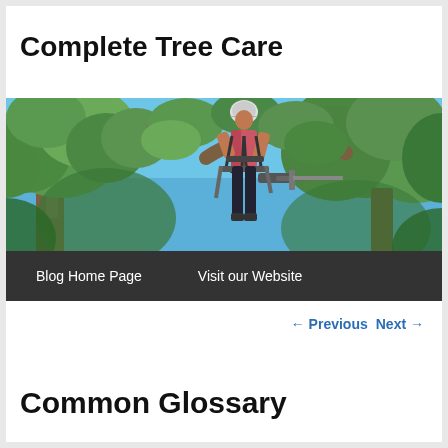Complete Tree Care
[Figure (photo): Arborist wearing pink shirt and safety harness working high in a tree with green foliage against a blue sky, holding a chainsaw]
Blog Home Page   Visit our Website
← Previous   Next →
Common Glossary